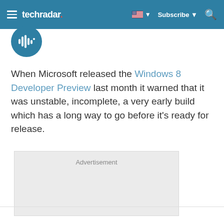techradar | Subscribe
[Figure (logo): Podcast/audio circular icon in teal header area]
When Microsoft released the Windows 8 Developer Preview last month it warned that it was unstable, incomplete, a very early build which has a long way to go before it's ready for release.
Advertisement